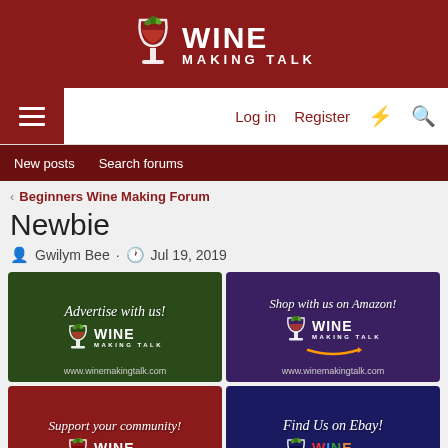Wine Making Talk
Log in  Register
New posts  Search forums
Beginners Wine Making Forum
Newbie
Gwilym Bee · Jul 19, 2019
[Figure (advertisement): Advertise with us! Wine Making Talk - www.winemakingtalk.com on dark green background]
[Figure (advertisement): Shop with us on Amazon! Wine Making Talk - www.winemakingtalk.com on dark purple background]
[Figure (advertisement): Support your community! Wine Making Talk - Sign Up for Supporting Membership! on dark red background]
[Figure (advertisement): Find Us on Ebay! Wine Making Talk - www.winemakingtalk.com on dark navy blue background]